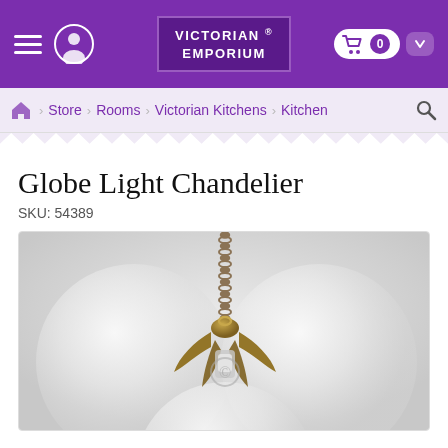VICTORIAN ® EMPORIUM — navigation bar with hamburger menu, user icon, cart
Store › Rooms › Victorian Kitchens › Kitchen
Globe Light Chandelier
SKU: 54389
[Figure (photo): Product photo of a Globe Light Chandelier: three large frosted glass globe bulbs arranged around a central antique brass fitting, suspended by a decorative chain, on a light grey background.]